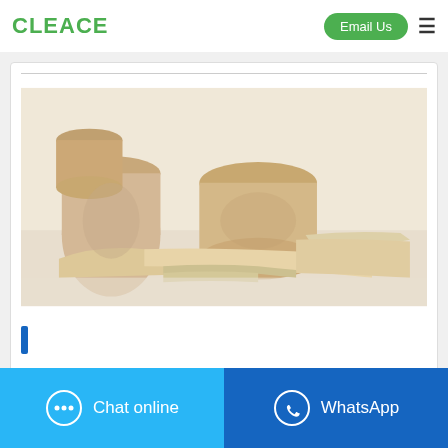CLEACE  Email Us  ☰
[Figure (photo): Beige/cream colored fabric material rolls and flat sheets unrolled on a white surface, showing texture of a soft non-woven or felt-like industrial filter fabric.]
Chat online
WhatsApp